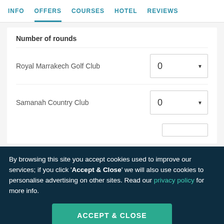INFO | OFFERS | COURSES | HOTEL | REVIEWS
Number of rounds
Royal Marrakech Golf Club — 0
Samanah Country Club — 0
By browsing this site you accept cookies used to improve our services; if you click 'Accept & Close' we will also use cookies to personalise advertising on other sites. Read our privacy policy for more info.
ACCEPT & CLOSE
Reject personalised marketing